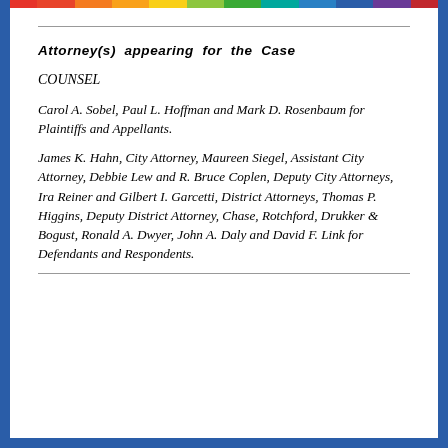Attorney(s) appearing for the Case
COUNSEL
Carol A. Sobel, Paul L. Hoffman and Mark D. Rosenbaum for Plaintiffs and Appellants.
James K. Hahn, City Attorney, Maureen Siegel, Assistant City Attorney, Debbie Lew and R. Bruce Coplen, Deputy City Attorneys, Ira Reiner and Gilbert I. Garcetti, District Attorneys, Thomas P. Higgins, Deputy District Attorney, Chase, Rotchford, Drukker & Bogust, Ronald A. Dwyer, John A. Daly and David F. Link for Defendants and Respondents.